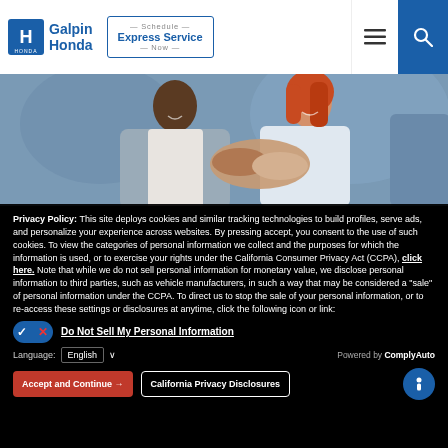Galpin Honda — Schedule Express Service Now
[Figure (photo): Two people shaking hands in a dealership or business setting, a man in a grey suit and a woman with red hair smiling, with another person partially visible on the right]
Privacy Policy: This site deploys cookies and similar tracking technologies to build profiles, serve ads, and personalize your experience across websites. By pressing accept, you consent to the use of such cookies. To view the categories of personal information we collect and the purposes for which the information is used, or to exercise your rights under the California Consumer Privacy Act (CCPA), click here. Note that while we do not sell personal information for monetary value, we disclose personal information to third parties, such as vehicle manufacturers, in such a way that may be considered a "sale" of personal information under the CCPA. To direct us to stop the sale of your personal information, or to re-access these settings or disclosures at anytime, click the following icon or link:
Do Not Sell My Personal Information
Language: English — Powered by ComplyAuto
Accept and Continue → | California Privacy Disclosures